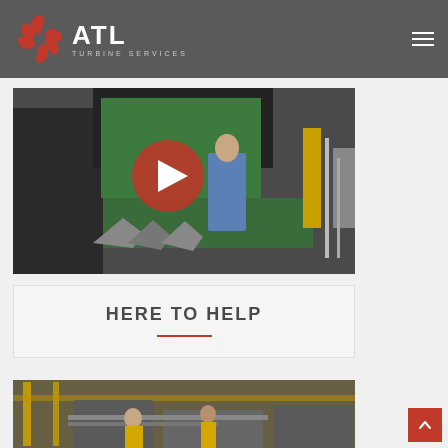ATL Turbine Services
[Figure (photo): A technician in blue overalls working on turbine blades inside an industrial workshop, with a red play button overlay indicating a video thumbnail]
HERE TO HELP
[Figure (photo): Industrial machinery in a yellow-lit workshop with workers visible]